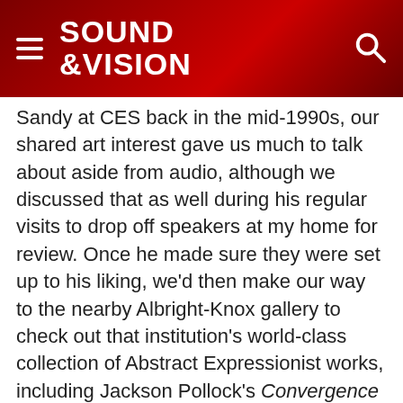SOUND &VISION
Sandy at CES back in the mid-1990s, our shared art interest gave us much to talk about aside from audio, although we discussed that as well during his regular visits to drop off speakers at my home for review. Once he made sure they were set up to his liking, we'd then make our way to the nearby Albright-Knox gallery to check out that institution's world-class collection of Abstract Expressionist works, including Jackson Pollock's Convergence (see photo above).
As the co-founder of three iconic speaker brands—Polk Audio, Definitive Technology, and GoldenEar Technology—Gross has accomplished great things